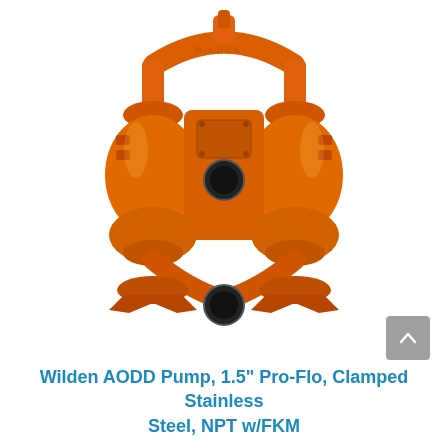[Figure (photo): Orange Wilden AODD (Air-Operated Double Diaphragm) Pump, 1.5 inch Pro-Flo, Clamped Stainless Steel with NPT and FKM fittings. The pump body is bright orange, showing the characteristic H-frame double diaphragm design with curved manifold piping at the top, two circular inlet/outlet ports, and bolted clamp connections. White background.]
Wilden AODD Pump, 1.5" Pro-Flo, Clamped Stainless Steel, NPT w/FKM